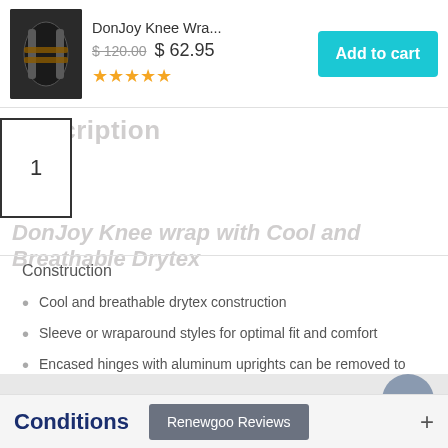DonJoy Knee Wra...
$120.00  $62.95
★★★★★
Add to cart
1
Description
DonJoy Knee wrap with Cool and Breathable Drytex
Construction
Cool and breathable drytex construction
Sleeve or wraparound styles for optimal fit and comfort
Encased hinges with aluminum uprights can be removed to wash soft goods
Popliteal cutout for improved fit and comfort
Material Nylon Core / Polyester Lycra Fabric / Drytex
Conditions
Renewgoo Reviews